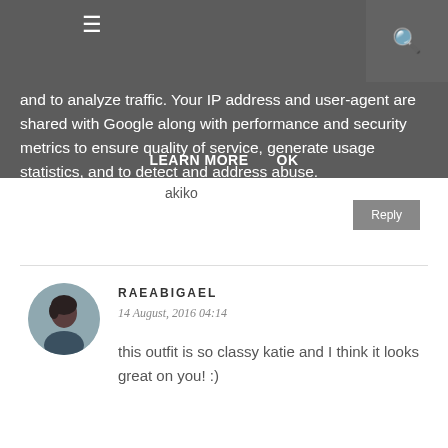and to analyze traffic. Your IP address and user-agent are shared with Google along with performance and security metrics to ensure quality of service, generate usage statistics, and to detect and address abuse.
LEARN MORE    OK
akiko
Reply
RAEABIGAEL
14 August, 2016 04:14
this outfit is so classy katie and I think it looks great on you! :)